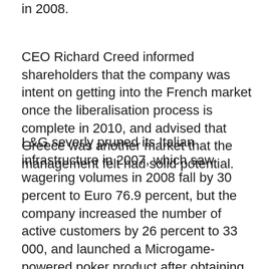in 2008.
CEO Richard Creed informed shareholders that the company was intent on getting into the French market once the liberalisation process is complete in 2010, and advised that Greece was another market that the management felt had solid potential.
L&G severly pruned its Italian infrastructure in 2007, which saw wagering volumes in 2008 fall by 30 percent to Euro 76.9 percent, but the company increased the number of active customers by 26 percent to 33 000, and launched a Microgame-powered poker product after obtaining an Italian poker licence in December 2008. Players spent Euro 2.7 million in poker tournament fees, and the company earned gross rake of Euro 500 000 before duties.